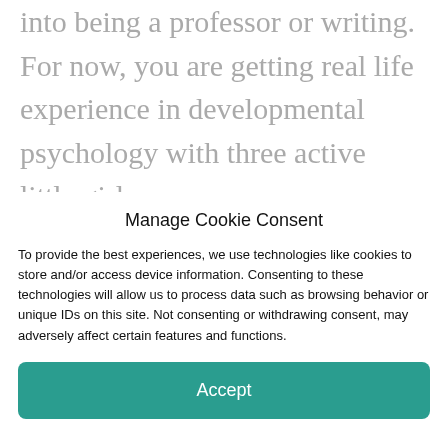into being a professor or writing.  For now, you are getting real life experience in developmental psychology with three active little girls.

They are so fortunate to have a mom that
Manage Cookie Consent
To provide the best experiences, we use technologies like cookies to store and/or access device information. Consenting to these technologies will allow us to process data such as browsing behavior or unique IDs on this site. Not consenting or withdrawing consent, may adversely affect certain features and functions.
Accept